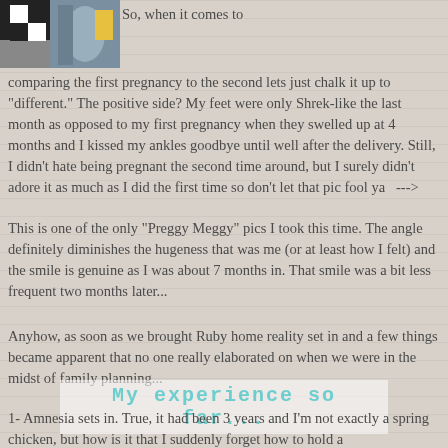[Figure (photo): Top-left corner photo showing a person with a checkered pattern and yellow object, partially cropped]
So, when it comes to comparing the first pregnancy to the second lets just chalk it up to "different." The positive side? My feet were only Shrek-like the last month as opposed to my first pregnancy when they swelled up at 4 months and I kissed my ankles goodbye until well after the delivery. Still, I didn't hate being pregnant the second time around, but I surely didn't adore it as much as I did the first time so don't let that pic fool ya   --->
This is one of the only "Preggy Meggy" pics I took this time. The angle definitely diminishes the hugeness that was me (or at least how I felt) and the smile is genuine as I was about 7 months in. That smile was a bit less frequent two months later...
Anyhow, as soon as we brought Ruby home reality set in and a few things became apparent that no one really elaborated on when we were in the midst of family planning...
My experience so far...
1- Amnesia sets in. True, it had been 3 years and I'm not exactly a spring chicken, but how is it that I suddenly forget how to hold a